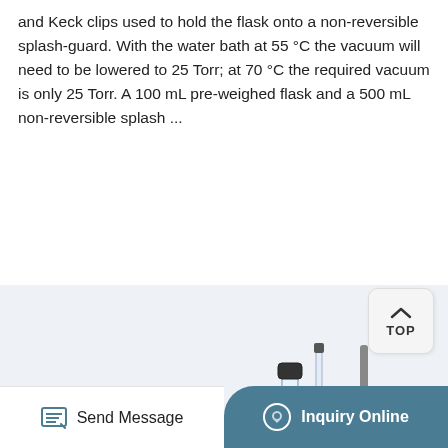and Keck clips used to hold the flask onto a non-reversible splash-guard. With the water bath at 55 °C the vacuum will need to be lowered to 25 Torr; at 70 °C the required vacuum is only 25 Torr. A 100 mL pre-weighed flask and a 500 mL non-reversible splash ...
Learn More
[Figure (illustration): Laboratory rotary evaporator equipment setup with a large glass flask, condenser, vacuum pump and accessories on a light blue background]
Send Message
Inquiry Online